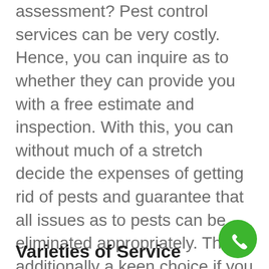assessment? Pest control services can be very costly. Hence, you can inquire as to whether they can provide you with a free estimate and inspection. With this, you can without much of a stretch decide the expenses of getting rid of pests and guarantee that all issues as to pests can be eliminated appropriately. This is additionally a keen choice if you need to set aside money and set a sufficient financial plan for this specific reason.
Varieties of Service
[Figure (other): Green circular phone/call button icon in the bottom-right corner]